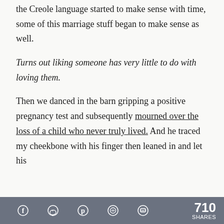the Creole language started to make sense with time, some of this marriage stuff began to make sense as well.
Turns out liking someone has very little to do with loving them.
Then we danced in the barn gripping a positive pregnancy test and subsequently mourned over the loss of a child who never truly lived. And he traced my cheekbone with his finger then leaned in and let his
710 SHARES